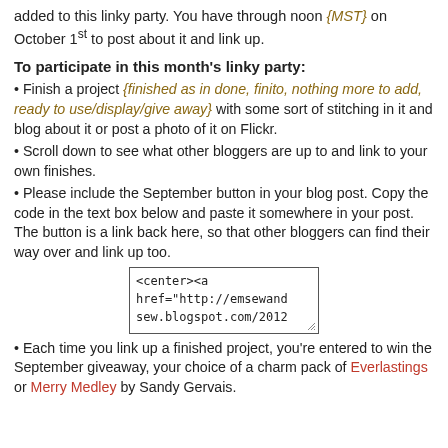added to this linky party. You have through noon {MST} on October 1st to post about it and link up.
To participate in this month's linky party:
• Finish a project {finished as in done, finito, nothing more to add, ready to use/display/give away} with some sort of stitching in it and blog about it or post a photo of it on Flickr.
• Scroll down to see what other bloggers are up to and link to your own finishes.
• Please include the September button in your blog post. Copy the code in the text box below and paste it somewhere in your post. The button is a link back here, so that other bloggers can find their way over and link up too.
[Figure (screenshot): A text box containing HTML code: <center><a href="http://emsewand sew.blogspot.com/2012]
• Each time you link up a finished project, you're entered to win the September giveaway, your choice of a charm pack of Everlastings or Merry Medley by Sandy Gervais.